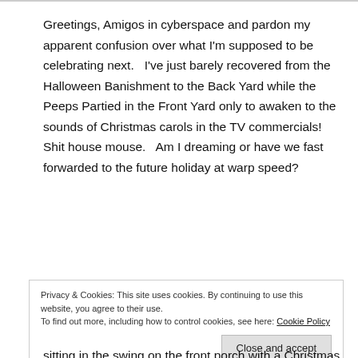Greetings, Amigos in cyberspace and pardon my apparent confusion over what I'm supposed to be celebrating next.   I've just barely recovered from the Halloween Banishment to the Back Yard while the Peeps Partied in the Front Yard only to awaken to the sounds of Christmas carols in the TV commercials!   Shit house mouse.   Am I dreaming or have we fast forwarded to the future holiday at warp speed?
Privacy & Cookies: This site uses cookies. By continuing to use this website, you agree to their use.
To find out more, including how to control cookies, see here: Cookie Policy
[Close and accept]
sitting in the swing on the front porch with a Christmas